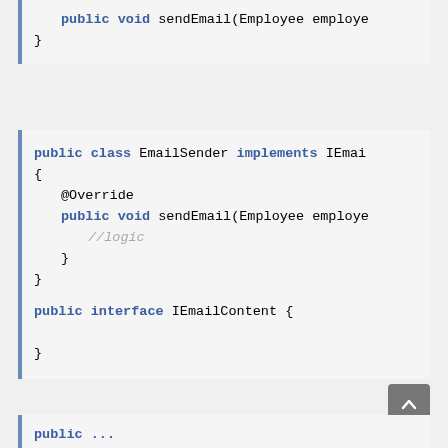public void sendEmail(Employee employe
}
public class EmailSender implements IEmai
{
    @Override
    public void sendEmail(Employee employe
        //logic
    }
}
public interface IEmailContent {

}
public ...